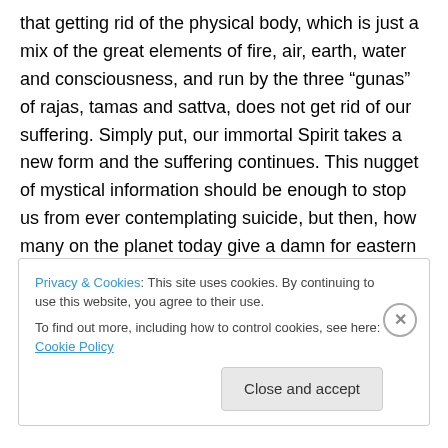that getting rid of the physical body, which is just a mix of the great elements of fire, air, earth, water and consciousness, and run by the three “gunas” of rajas, tamas and sattva, does not get rid of our suffering. Simply put, our immortal Spirit takes a new form and the suffering continues. This nugget of mystical information should be enough to stop us from ever contemplating suicide, but then, how many on the planet today give a damn for eastern philosophy, or even know that its ancient truths are priceless? Continue reading →
Privacy & Cookies: This site uses cookies. By continuing to use this website, you agree to their use.
To find out more, including how to control cookies, see here: Cookie Policy